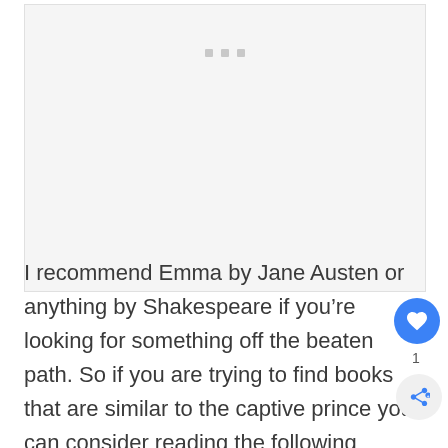[Figure (other): Image placeholder area with three small grey dots/squares near top center, light grey background]
I recommend Emma by Jane Austen or anything by Shakespeare if you’re looking for something off the beaten path. So if you are trying to find books that are similar to the captive prince you can consider reading the following books: